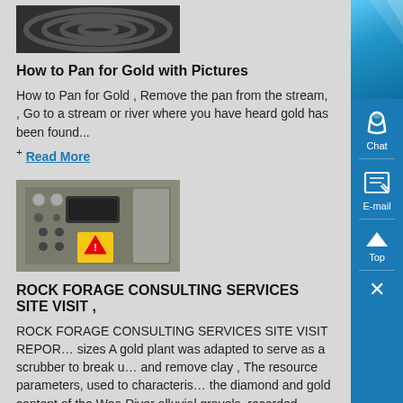[Figure (photo): Rolled black hose or cable coils viewed from above]
How to Pan for Gold with Pictures
How to Pan for Gold , Remove the pan from the stream, , Go to a stream or river where you have heard gold has been found...
+ Read More
[Figure (photo): Industrial control panel with buttons, gauges and a warning sticker]
ROCK FORAGE CONSULTING SERVICES SITE VISIT ,
ROCK FORAGE CONSULTING SERVICES SITE VISIT REPOR… sizes A gold plant was adapted to serve as a scrubber to break u… and remove clay , The resource parameters, used to characteris… the diamond and gold content of the Woa River alluvial gravels, recorded include...